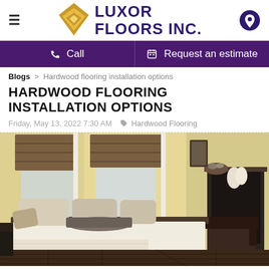[Figure (logo): Luxor Floors Inc. logo with diamond/geometric gold icon and purple text]
Call
Request an estimate
Blogs > Hardwood flooring installation options
HARDWOOD FLOORING INSTALLATION OPTIONS
Friday, May 13, 2022 7:30 AM  Hardwood Flooring
[Figure (photo): A bedroom interior with a large bed with cream/beige bedding and pillows, dark wood flooring, yellow walls, brown roman shades on windows, dark armchairs, and a fireplace with a decorative bowl on the right side.]